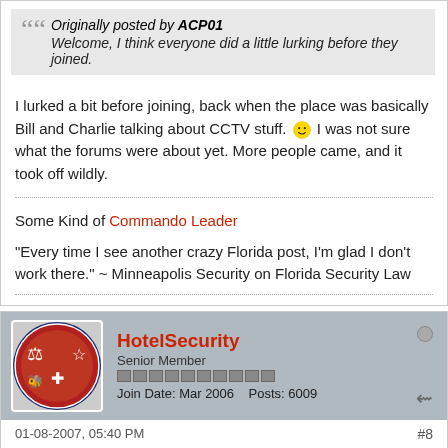Originally posted by ACP01
Welcome, I think everyone did a little lurking before they joined.
I lurked a bit before joining, back when the place was basically Bill and Charlie talking about CCTV stuff. [emoji] I was not sure what the forums were about yet. More people came, and it took off wildly.
Some Kind of Commando Leader
"Every time I see another crazy Florida post, I'm glad I don't work there." ~ Minneapolis Security on Florida Security Law
HotelSecurity
Senior Member
Join Date: Mar 2006  Posts: 6009
01-08-2007, 05:40 PM  #8
Originally posted by N. A. Corbier
I lurked a bit before joining, back when the place was basically Bill and Charlie talking about CCTV stuff. [emoji] I was not sure what the forums were about yet. More people came, and it took off wildly.